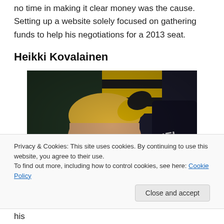no time in making it clear money was the cause. Setting up a website solely focused on gathering funds to help his negotiations for a 2013 seat.
Heikki Kovalainen
[Figure (photo): Close-up photo of Heikki Kovalainen wearing a yellow and black helmet, partially inside a racing car cockpit with 'HEI' text visible in background]
Privacy & Cookies: This site uses cookies. By continuing to use this website, you agree to their use.
To find out more, including how to control cookies, see here: Cookie Policy
without a guaranteed spot on the 2013 grid. Starting his